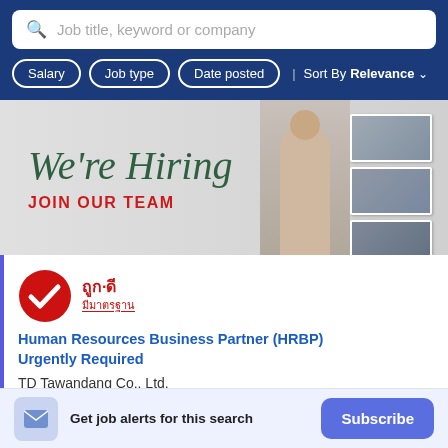[Figure (screenshot): Job search bar with placeholder text 'Job title, keyword or company' on a dark blue background]
Salary
Job type
Date posted
Sort By Relevance
[Figure (photo): Banner image showing 'We're Hiring JOIN OUR TEAM' with a person writing on a whiteboard and photos of teams]
[Figure (logo): Thook-dee (ถูก·ดี) logo - red circle with white checkmark and red Thai text]
Human Resources Business Partner (HRBP) Urgently Required
TD Tawandang Co., Ltd.
Get job alerts for this search
Subscribe